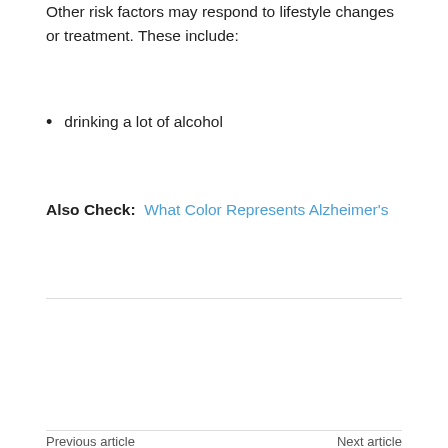Other risk factors may respond to lifestyle changes or treatment. These include:
drinking a lot of alcohol
Also Check:  What Color Represents Alzheimer's
[Figure (infographic): Social share bar with share icon outline button, arrow separator, and four social media buttons: Facebook (blue), Twitter (light blue), Pinterest (red), WhatsApp (green)]
Previous article
Does Cholesterol Medicine Cause Dementia
Next article
Can Someone With Dementia Sign Legal Documents